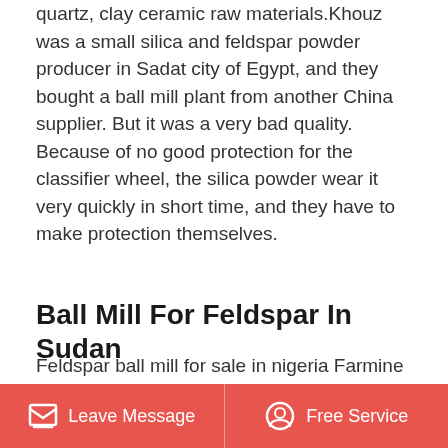quartz, clay ceramic raw materials.Khouz was a small silica and feldspar powder producer in Sadat city of Egypt, and they bought a ball mill plant from another China supplier. But it was a very bad quality. Because of no good protection for the classifier wheel, the silica powder wear it very quickly in short time, and they have to make protection themselves.
[Figure (other): Gray horizontal bar with a red rounded scroll-to-top button on the right showing a white upward chevron icon]
Ball Mill For Feldspar In Sudan
Feldspar ball mill for sale in nigeria Farmine Machinery. small feldspar mill for sale. small feldspar mill for sale. small feldspar mill for sale production capacity 0.65-615th feeding size 25mm discharging size 0.075-0.89mm ball mill is also
Leave Message    Free Service